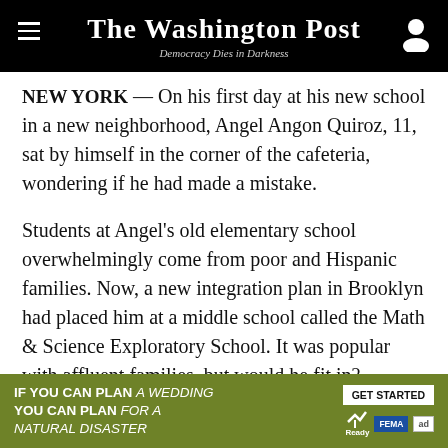The Washington Post — Democracy Dies in Darkness
NEW YORK — On his first day at his new school in a new neighborhood, Angel Angon Quiroz, 11, sat by himself in the corner of the cafeteria, wondering if he had made a mistake.
Students at Angel's old elementary school overwhelmingly come from poor and Hispanic families. Now, a new integration plan in Brooklyn had placed him at a middle school called the Math & Science Exploratory School. It was popular with affluent families, but would he fit in?
“Everyone else knows each other, but I know none of them,” he said. “We are all puzzles, and I’m the only puzzle who doesn’t fit.”
[Figure (infographic): Advertisement banner: IF YOU CAN PLAN A WEDDING YOU CAN PLAN FOR A NATURAL DISASTER — GET STARTED — Ready, FEMA, ad logos]